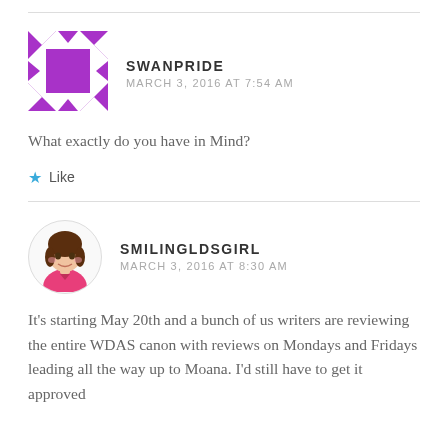[Figure (logo): Swanpride avatar: purple geometric quilt-pattern square logo]
SWANPRIDE
MARCH 3, 2016 AT 7:54 AM
What exactly do you have in Mind?
Like
[Figure (illustration): Smilingldsgirl avatar: cartoon girl with brown hair in pink outfit, circular framed]
SMILINGLDSGIRL
MARCH 3, 2016 AT 8:30 AM
It's starting May 20th and a bunch of us writers are reviewing the entire WDAS canon with reviews on Mondays and Fridays leading all the way up to Moana. I'd still have to get it approved